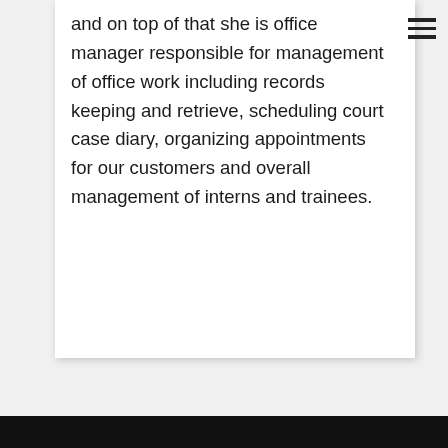and on top of that she is office manager responsible for management of office work including records keeping and retrieve, scheduling court case diary, organizing appointments for our customers and overall management of interns and trainees.